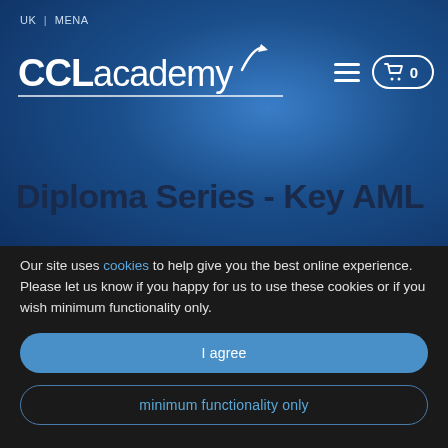UK | MENA
[Figure (logo): CCL Academy logo with white text and arrow motif, navigation hamburger menu and shopping cart icon with 0 items]
Diploma Series - Key AML
Our site uses cookies to help give you the best online experience. Please let us know if you happy for us to use these cookies or if you wish minimum functionality only.
I agree
minimum functionality only